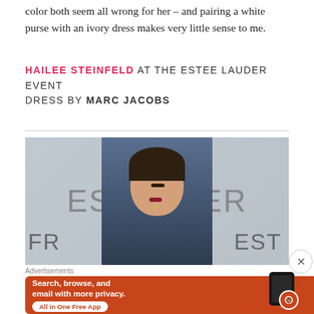color both seem all wrong for her – and pairing a white purse with an ivory dress makes very little sense to me.
HAILEE STEINFELD AT THE ESTEE LAUDER EVENT
DRESS BY MARC JACOBS
[Figure (photo): Photo of Hailee Steinfeld at the Estee Lauder event, standing in front of an Estee Lauder branded backdrop, wearing a dark navy dress.]
Advertisements
[Figure (screenshot): DuckDuckGo advertisement: 'Search, browse, and email with more privacy. All in One Free App' with DuckDuckGo logo and app icon on phone mockup.]